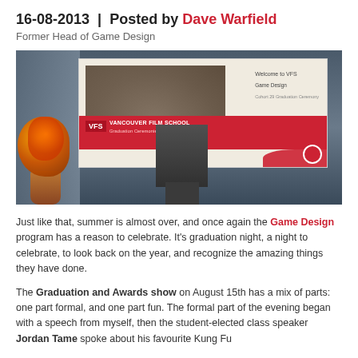16-08-2013  |  Posted by Dave Warfield
Former Head of Game Design
[Figure (photo): Photo of a Vancouver Film School graduation ceremony venue showing a large projection screen displaying 'Welcome to VFS, Game Design, Cohort 29 Graduation Ceremony' with Vancouver Film School branding, a floral arrangement in the foreground, and a podium.]
Just like that, summer is almost over, and once again the Game Design program has a reason to celebrate. It's graduation night, a night to celebrate, to look back on the year, and recognize the amazing things they have done.
The Graduation and Awards show on August 15th has a mix of parts: one part formal, and one part fun. The formal part of the evening began with a speech from myself, then the student-elected class speaker Jordan Tame spoke about his favourite Kung Fu